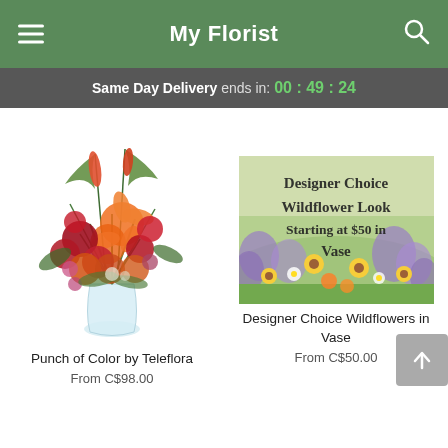My Florist
Same Day Delivery ends in: 00 : 49 : 24
[Figure (photo): Punch of Color by Teleflora - a tall floral arrangement with orange lilies, red and orange roses, pink flowers, and green foliage in a clear vase]
Punch of Color by Teleflora
From C$98.00
[Figure (photo): Designer Choice Wildflower Look promo image - a meadow of wildflowers including purple, yellow, and white blooms with overlay text: Designer Choice Wildflower Look Starting at $50 in Vase]
Designer Choice Wildflowers in Vase
From C$50.00